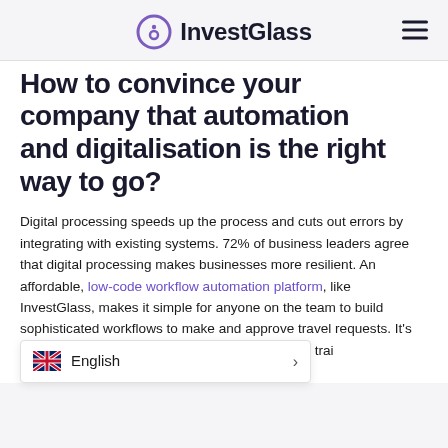InvestGlass
How to convince your company that automation and digitalisation is the right way to go?
Digital processing speeds up the process and cuts out errors by integrating with existing systems. 72% of business leaders agree that digital processing makes businesses more resilient. An affordable, low-code workflow automation platform, like InvestGlass, makes it simple for anyone on the team to build sophisticated workflows to make and approve travel requests. It's eas... e for everyone, meaning less trai... plementation.